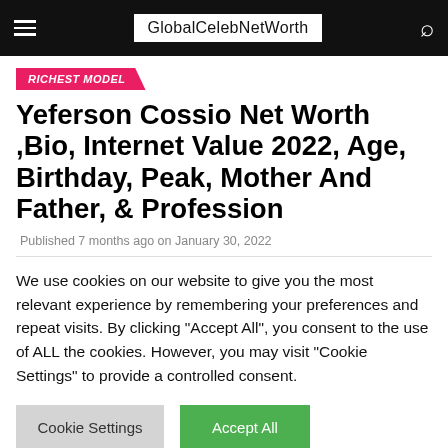GlobalCelebNetWorth
RICHEST MODEL
Yeferson Cossio Net Worth ,Bio, Internet Value 2022, Age, Birthday, Peak, Mother And Father, & Profession
Published 7 months ago on January 30, 2022
We use cookies on our website to give you the most relevant experience by remembering your preferences and repeat visits. By clicking "Accept All", you consent to the use of ALL the cookies. However, you may visit "Cookie Settings" to provide a controlled consent.